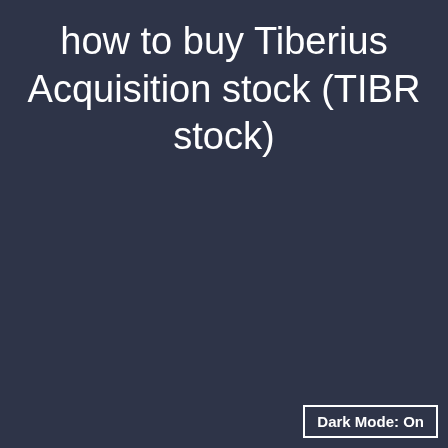how to buy Tiberius Acquisition stock (TIBR stock)
Dark Mode: On